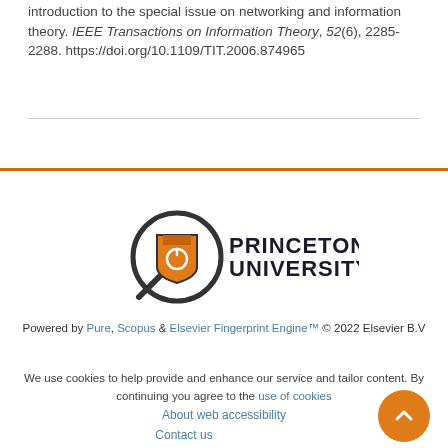introduction to the special issue on networking and information theory. IEEE Transactions on Information Theory, 52(6), 2285-2288. https://doi.org/10.1109/TIT.2006.874965
[Figure (logo): Princeton University logo with magnifying glass icon and university name text]
Powered by Pure, Scopus & Elsevier Fingerprint Engine™ © 2022 Elsevier B.V
We use cookies to help provide and enhance our service and tailor content. By continuing you agree to the use of cookies
About web accessibility
Contact us